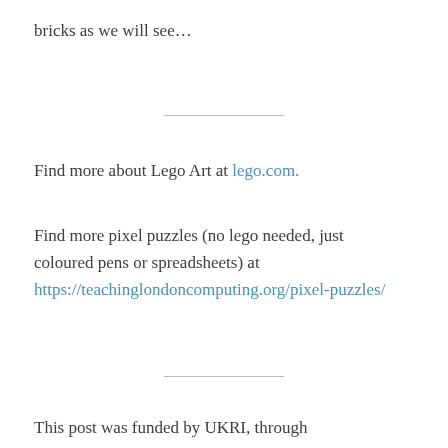bricks as we will see…
Find more about Lego Art at lego.com.
Find more pixel puzzles (no lego needed, just coloured pens or spreadsheets) at https://teachinglondoncomputing.org/pixel-puzzles/
This post was funded by UKRI, through